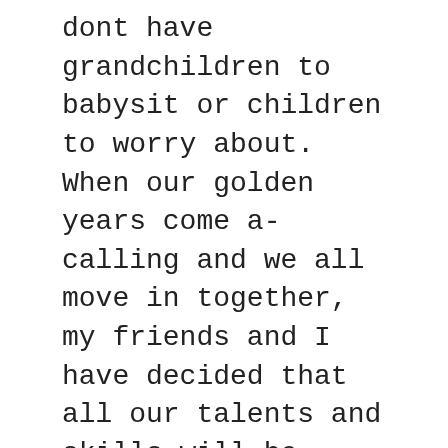dont have grandchildren to babysit or children to worry about. When our golden years come a-calling and we all move in together, my friends and I have decided that all our talents and skills will be utilised. No one will feel useless. Its a highly practical plan. One of my friends is a nurse, one of us is a whizz in the kitchen, another a keen gardener, while I love DIY and have an eye forinterior design. We will be pooling not only our resources, but also our unique, individual talents and skills. Instead of being redundant, these willbe needed more than ever andcelebrated.
Since my friends and I came up with our alternative old-age plan, getting old no longer feels like a daunting prospect, and I no longer shy away from it instead it feels hopeful and promising. I am almost